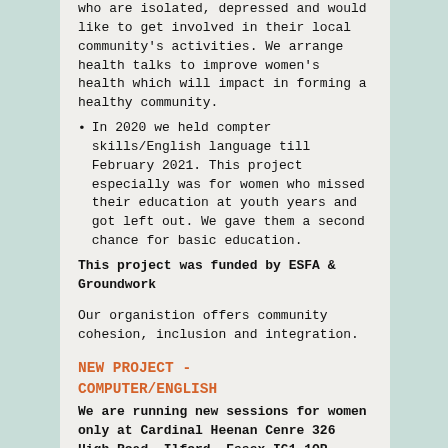who are isolated, depressed and would like to get involved in their local community's activities. We arrange health talks to improve women's health which will impact in forming a healthy community.
In 2020 we held compter skills/English language till February 2021.  This project especially was for women who missed their education at youth years and got left out.  We gave them a second chance for basic education.
This project was funded by ESFA & Groundwork
Our organistion offers community cohesion, inclusion and integration.
NEW PROJECT - COMPUTER/ENGLISH
We are running new sessions for women only at Cardinal Heenan Cenre 326 High Road, Ilford, Essex IG1 1QP